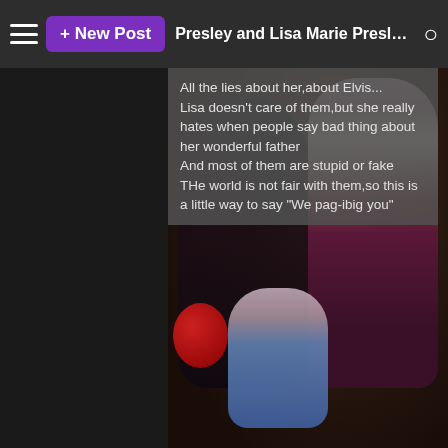+ New Post  Presley and Lisa Marie Presley Club
All the lies about her,about Elvis...
Lisa doesn't care of them,but she really hates when people say bad thing about her wonderful father
And most of them are stupid or fake
THe world is not fair with them,so this is a little way to say "We pag-ibig you"
[Figure (photo): A dark vintage photo of Elvis Presley with a young Lisa Marie Presley holding a doll, with a red balloon visible on the left side.]